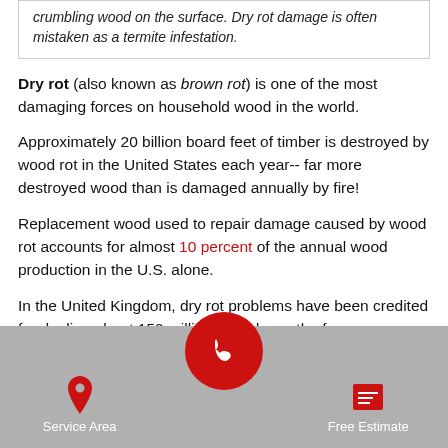crumbling wood on the surface. Dry rot damage is often mistaken as a termite infestation.
Dry rot (also known as brown rot) is one of the most damaging forces on household wood in the world.
Approximately 20 billion board feet of timber is destroyed by wood rot in the United States each year-- far more destroyed wood than is damaged annually by fire!
Replacement wood used to repair damage caused by wood rot accounts for almost 10 percent of the annual wood production in the U.S. alone.
In the United Kingdom, dry rot problems have been credited for dealing about 150 million pounds worth of damage...
Service Area | [phone] | Free Estimate